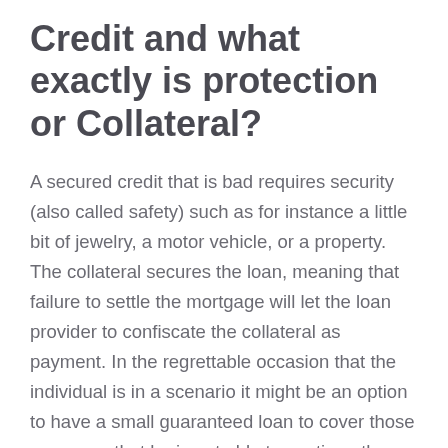Credit and what exactly is protection or Collateral?
A secured credit that is bad requires security (also called safety) such as for instance a little bit of jewelry, a motor vehicle, or a property. The collateral secures the loan, meaning that failure to settle the mortgage will let the loan provider to confiscate the collateral as payment. In the regrettable occasion that the individual is in a scenario it might be an option to have a small guaranteed loan to cover those expenses that he is not able to continue the repayment on a secured loan. This is certainly specially perfect you back on your feet if you are expecting a settlement in the near future which will get. Just be sure to help keep having to pay these repayments as it can certainly easily get free from hand.